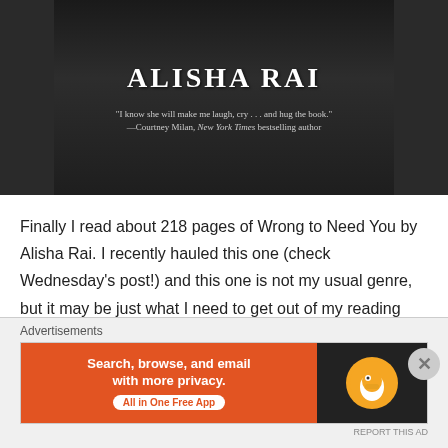[Figure (illustration): Book cover for 'Wrong to Need You' by Alisha Rai. Dark background with author name in large white serif text. Quote below: "I know she will make me laugh, cry . . . and hug the book." —Courtney Milan, New York Times bestselling author]
Finally I read about 218 pages of Wrong to Need You by Alisha Rai. I recently hauled this one (check Wednesday's post!) and this one is not my usual genre, but it may be just what I need to get out of my reading slump. It's a smutty romance novel about a woman whose husband passes away, and then she sees a tall dark and handsome stranger in a bar....who turns out to be her ex brother in law! There is a mutual attraction between the two, but neither knows and there are a lot of secrets between them. So far, it's been not as
Advertisements
[Figure (screenshot): DuckDuckGo advertisement banner. Left side: orange background with text 'Search, browse, and email with more privacy. All in One Free App'. Right side: black background with DuckDuckGo duck logo in orange circle.]